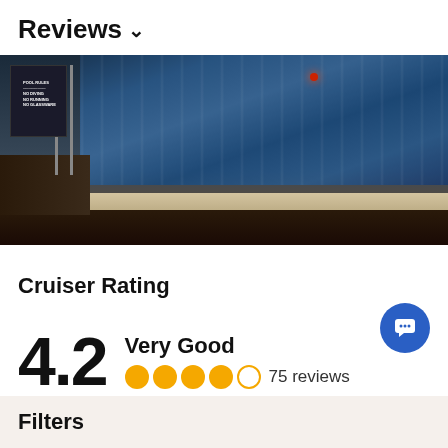Reviews ∨
[Figure (photo): Cruise ship pool deck at night, showing pool water with reflections, pool ledge, dark wood flooring, pool rules sign, and metal posts.]
Cruiser Rating
4.2 Very Good ●●●●○ 75 reviews
Filters